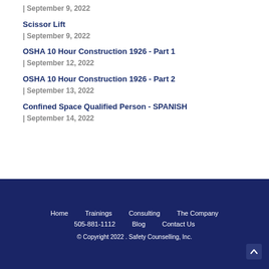| September 9, 2022
Scissor Lift
| September 9, 2022
OSHA 10 Hour Construction 1926 - Part 1
| September 12, 2022
OSHA 10 Hour Construction 1926 - Part 2
| September 13, 2022
Confined Space Qualified Person - SPANISH
| September 14, 2022
Home  Trainings  Consulting  The Company  505-881-1112  Blog  Contact Us  © Copyright 2022 . Safety Counselling, Inc.